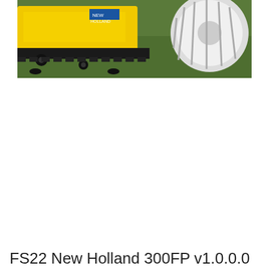[Figure (photo): Close-up photo of yellow New Holland agricultural mowing equipment with black cutting blades on green grass, with a white tractor wheel visible in the background.]
FS22 New Holland 300FP v1.0.0.0